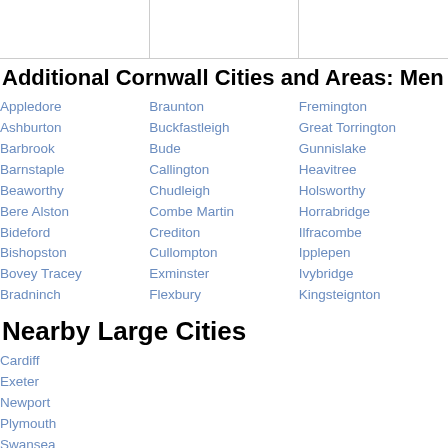[Figure (photo): Three blank/white image placeholders in a row at the top of the page]
Additional Cornwall Cities and Areas: Men and Wo
Appledore
Ashburton
Barbrook
Barnstaple
Beaworthy
Bere Alston
Bideford
Bishopston
Bovey Tracey
Bradninch
Braunton
Buckfastleigh
Bude
Callington
Chudleigh
Combe Martin
Crediton
Cullompton
Exminster
Flexbury
Fremington
Great Torrington
Gunnislake
Heavitree
Holsworthy
Horrabridge
Ilfracombe
Ipplepen
Ivybridge
Kingsteignton
Nearby Large Cities
Cardiff
Exeter
Newport
Plymouth
Swansea
Neighborhoods near Beaford
Ashreigny
Chawleigh
High Bickington